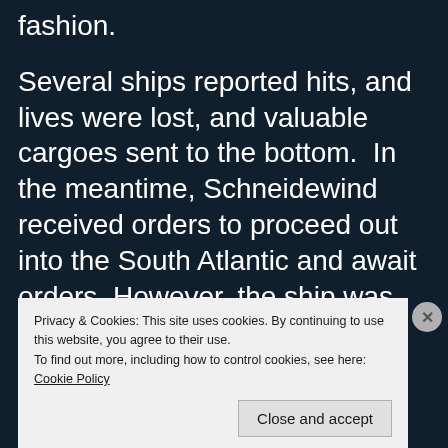fashion.
Several ships reported hits, and lives were lost, and valuable cargoes sent to the bottom.  In the meantime, Schneidewind received orders to proceed out into the South Atlantic and await orders. However, the ship was soon sent to lay yet another minefield, this time a further 80 mines south of Cape Argulhus. This was
Privacy & Cookies: This site uses cookies. By continuing to use this website, you agree to their use.
To find out more, including how to control cookies, see here: Cookie Policy
Close and accept